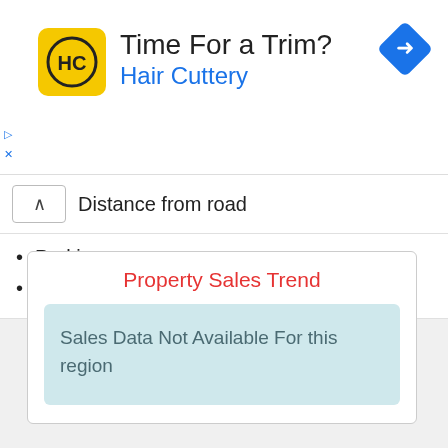[Figure (infographic): Hair Cuttery advertisement banner with yellow logo showing HC initials, title 'Time For a Trim?' and subtitle 'Hair Cuttery' in blue, with a blue navigation/turn arrow icon on the right]
Distance from road
Parking
Neighborhood
Property Sales Trend
Sales Data Not Available For this region
Estimated Property Value